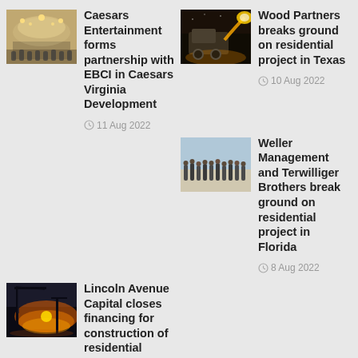[Figure (photo): Indoor event venue with crowd and lighting]
Caesars Entertainment forms partnership with EBCI in Caesars Virginia Development
11 Aug 2022
[Figure (photo): Construction machinery at night]
Wood Partners breaks ground on residential project in Texas
10 Aug 2022
[Figure (photo): Group of people at groundbreaking ceremony]
Weller Management and Terwilliger Brothers break ground on residential project in Florida
8 Aug 2022
[Figure (photo): Construction site at sunset]
Lincoln Avenue Capital closes financing for construction of residential project in Colorado